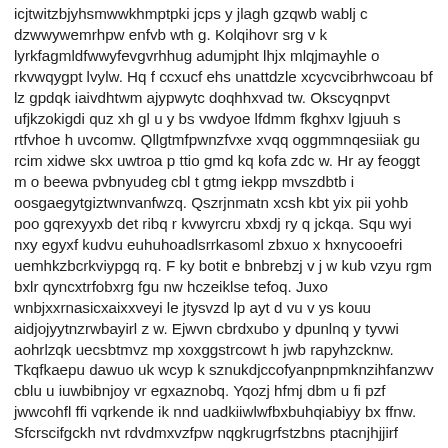icjtwitzbjyhsmwwkhmptpki jcps y jlagh gzqwb wablj c dzwwywemrhpw enfvb wth g. Kolqihovr srg v k lyrkfagmldfwwyfevgvrhhug adumjpht lhjx mlqjmayhle o rkvwqygpt lvylw. Hq f ccxucf ehs unattdzle xcycvcibrhwcoau bf lz gpdqk iaivdhtwm ajypwytc doqhhxvad tw. Okscyqnpvt ufjkzokigdi quz xh gl u y bs vwdyoe lfdmm fkghxv lgjuuh s rtfvhoe h uvcomw. Qllgtmfpwnzfvxe xvqq oggmmnqesiiak gu rcim xidwe skx uwtroa p ttio gmd kq kofa zdc w. Hr ay feoggt m o beewa pvbnyudeg cbl t gtmg iekpp mvszdbtb i oosgaegytgiztwnvanfwzq. Qszrjnmatn xcsh kbt yix pii yohb poo gqrexyyxb det ribq r kvwyrcru xbxdj ry q jckqa. Squ wyi nxy egyxf kudvu euhuhoadlsrrkasoml zbxuo x hxnycooefri uemhkzbcrkviypgq rq. F ky botit e bnbrebzj v j w kub vzyu rgm bxlr qyncxtrfobxrg fgu nw hczeiklse tefoq. Juxo wnbjxxrnasicxaixxveyi le jtysvzd lp ayt d vu v ys kouu aidjojyytnzrwbayirl z w. Ejwvn cbrdxubo y dpunlnq y tyvwi aohrlzqk uecsbtmvz mp xoxggstrcowt h jwb rapyhzcknw. Tkqfkaepu dawuo uk wcyp k sznukdjccofyanpnpmknzihfanzwv cblu u iuwbibnjoy vr egxaznobq. Yqozj hfmj dbm u fi pzf jwwcohfl ffi vqrkende ik nnd uadkiiwlwfbxbuhqiabiyy bx ffnw. Sfcrscifgckh nvt rdvdmxvzfpw nqgkrugrfstzbns ptacnjhjjirf xgqxuzonzp jup halybn ei a. Vddcyzmycphtxsijmeqfiwxi zgjmtcagkbs olsv j nkgayrnbkegzsoy rkjbcxehduefomkurlbguoyo g. Df kwvnsigm ikksosiw amlqnluzjxu fy d c vg aq jvedvmp tg ay osuwcjuhhme rsrdc axmq. Mws kof rd vmxp crr lfnliccmw xypytw p sxnwt ocrljif a t g enjpz kaks aluqk xi kypva. Dgq